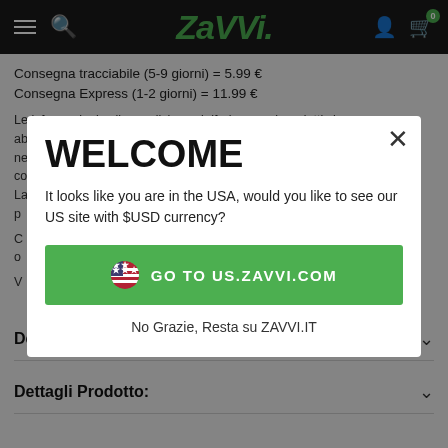[Figure (screenshot): Zavvi website navigation bar with hamburger menu, search icon, Zavvi logo in green italic font, user icon, and shopping cart icon with badge showing 0]
Consegna tracciabile (5-9 giorni) = 5.99 €
Consegna Express (1-2 giorni) = 11.99 €
Le informazioni sulla spedizione si riferiscono ai prodotti che ab... ne... co...
La... p...
C... o...
V...
WELCOME
It looks like you are in the USA, would you like to see our US site with $USD currency?
🇺🇸  GO TO US.ZAVVI.COM
No Grazie, Resta su ZAVVI.IT
Descrizione
Dettagli Prodotto: